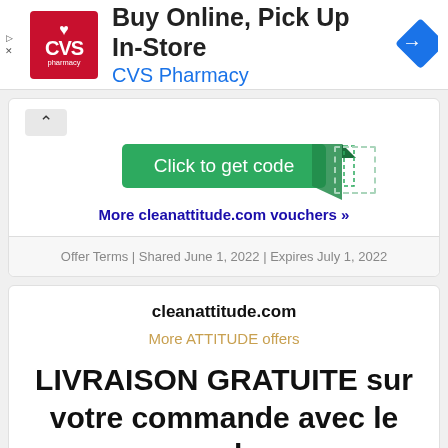[Figure (logo): CVS Pharmacy advertisement banner with red logo, text 'Buy Online, Pick Up In-Store' and 'CVS Pharmacy', and a blue diamond navigation icon]
[Figure (other): Green 'Click to get code' button with decorative folded corner and dotted border]
More cleanattitude.com vouchers »
Offer Terms | Shared June 1, 2022 | Expires July 1, 2022
cleanattitude.com
More ATTITUDE offers
LIVRAISON GRATUITE sur votre commande avec le code